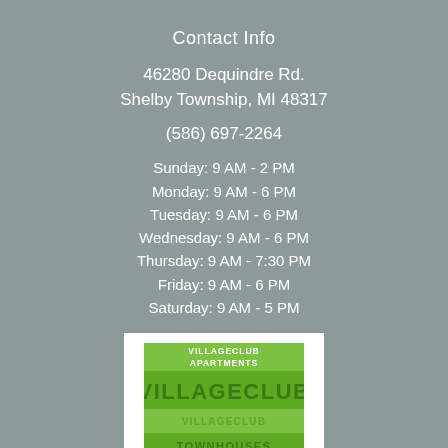Contact Info
46280 Dequindre Rd.
Shelby Township, MI 48317
(586) 697-2264
Sunday: 9 AM - 2 PM
Monday: 9 AM - 6 PM
Tuesday: 9 AM - 6 PM
Wednesday: 9 AM - 6 PM
Thursday: 9 AM - 7:30 PM
Friday: 9 AM - 6 PM
Saturday: 9 AM - 5 PM
[Figure (logo): Village Club Apartments / Village Club / Village Club Townhouses logo with green text on white background]
COPYRIGHT© 2022
DEVELOPED BY SPHEREXX.COM ®